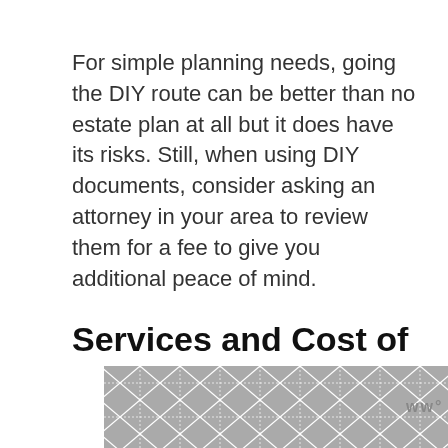For simple planning needs, going the DIY route can be better than no estate plan at all but it does have its risks. Still, when using DIY documents, consider asking an attorney in your area to review them for a fee to give you additional peace of mind.
Services and Cost of a Professional Estate Planner
Your total costs will depend on how simple or complex your situation is. If a simple will and powers of attorney are all you need, you might pay $300 to $500.
[Figure (other): Decorative geometric pattern ad strip at bottom of page with Wordmark logo]